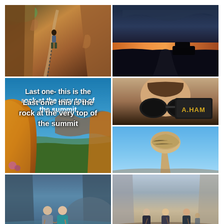[Figure (photo): Hiker walking on a chain-railed trail through red sandstone canyon walls, viewed from above]
[Figure (photo): Dusk/sunset scene over a dark landscape with dramatic clouds and glowing horizon]
[Figure (photo): View from rock summit overlook showing Zion National Park canyon landscape with text overlay: 'Last one- this is the rock at the very top of the summit']
[Figure (photo): Upside-down close-up of a bearded man's face with sunglasses and a black hat labeled 'A.HAM']
[Figure (photo): A distinctive mushroom-shaped balanced rock formation against a blue sky]
[Figure (photo): Two people wading through a narrow slot canyon river (The Narrows), holding walking sticks]
[Figure (photo): Three hikers standing in a rocky canyon riverbed with canyon walls in the background]